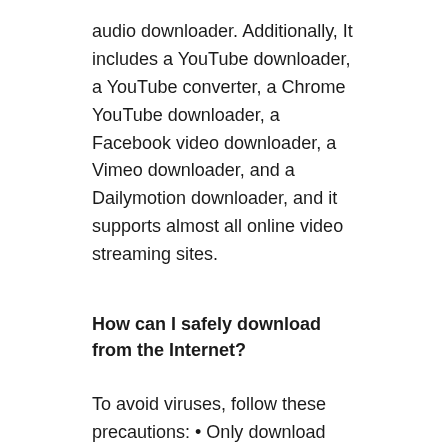audio downloader. Additionally, It includes a YouTube downloader, a YouTube converter, a Chrome YouTube downloader, a Facebook video downloader, a Vimeo downloader, and a Dailymotion downloader, and it supports almost all online video streaming sites.
How can I safely download from the Internet?
To avoid viruses, follow these precautions: • Only download from reputable websites. Moreover, Maintain a backup of your critical files. Install an antivirus program. Every document or image that you download from the internet has a file type.
Is 4K video downloader safe to use?
If you download 4K Video Downloader from its official website, it is safe to use. Additionally, It allows you to download videos from various platforms such as YouTube